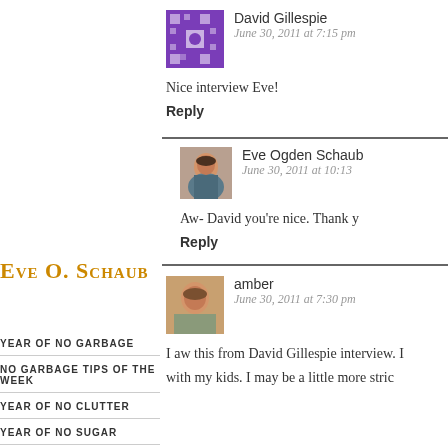David Gillespie
June 30, 2011 at 7:15 pm
Nice interview Eve!
Reply
Eve Ogden Schaub
June 30, 2011 at 10:13
Aw- David you're nice. Thank y
Reply
Eve O. Schaub
YEAR OF NO GARBAGE
NO GARBAGE TIPS OF THE WEEK
YEAR OF NO CLUTTER
YEAR OF NO SUGAR
ABOUT EVE SCHAUB
amber
June 30, 2011 at 7:30 pm
I aw this from David Gillespie interview. I
with my kids. I may be a little more stric